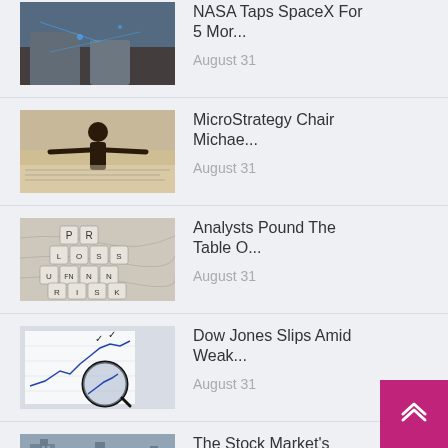NASA Taps SpaceX For 5 Mor... August 31
MicroStrategy Chair Michae... August 31
Analysts Pound The Table O... August 31
Dow Jones Slips Amid Weak... August 31
The Stock Market's Summe... August 31